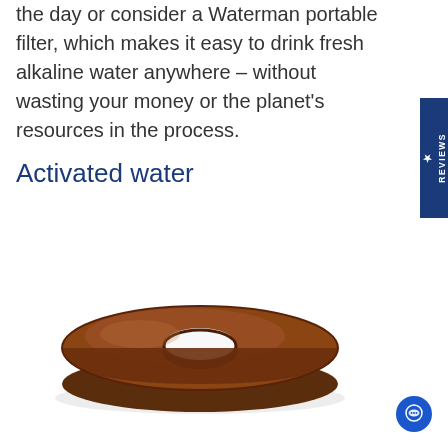the day or consider a Waterman portable filter, which makes it easy to drink fresh alkaline water anywhere – without wasting your money or the planet's resources in the process.
Activated water
[Figure (photo): A brown donut-shaped mineral stone or ceramic disc with a hole in the center, viewed from a slight angle on a white background.]